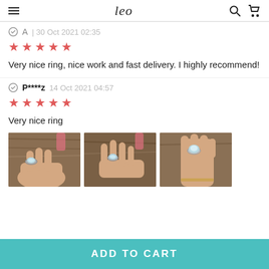Leo
A  | 30 Oct 2021 02:35
★★★★★
Very nice ring, nice work and fast delivery. I highly recommend!
P****z  14 Oct 2021 04:57
★★★★★
Very nice ring
[Figure (photo): Three photos of a hand wearing a decorative ring with a light blue/white stone, shown from different angles on a wooden surface with scissors in background.]
ADD TO CART